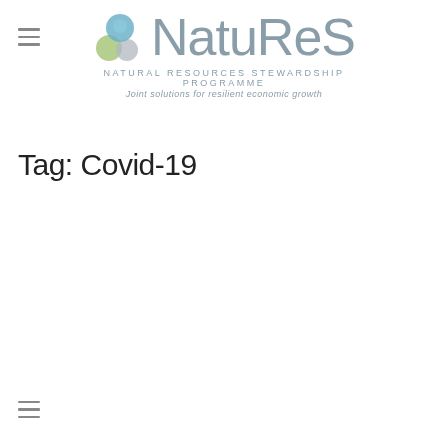NatuReS — NATURAL RESOURCES STEWARDSHIP PROGRAMME — Joint solutions for resilient economic growth
Tag: Covid-19